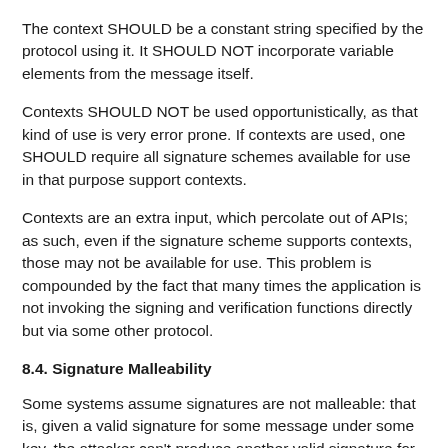The context SHOULD be a constant string specified by the protocol using it. It SHOULD NOT incorporate variable elements from the message itself.
Contexts SHOULD NOT be used opportunistically, as that kind of use is very error prone. If contexts are used, one SHOULD require all signature schemes available for use in that purpose support contexts.
Contexts are an extra input, which percolate out of APIs; as such, even if the signature scheme supports contexts, those may not be available for use. This problem is compounded by the fact that many times the application is not invoking the signing and verification functions directly but via some other protocol.
8.4. Signature Malleability
Some systems assume signatures are not malleable: that is, given a valid signature for some message under some key, the attacker can't produce another valid signature for